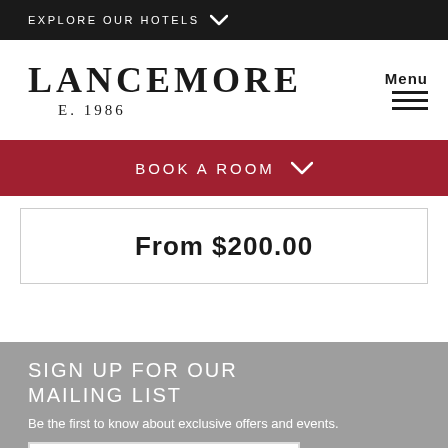EXPLORE OUR HOTELS
LANCEMORE E. 1986
BOOK A ROOM
From $200.00
SIGN UP FOR OUR MAILING LIST
Be the first to know about exclusive offers and events.
First name